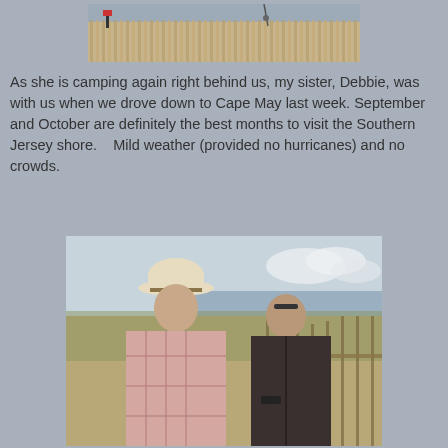[Figure (photo): Photo of a wooden fence/slat barrier along a beach with water visible in the background; fishing rods visible sticking up above the fence.]
As she is camping again right behind us, my sister, Debbie, was with us when we drove down to Cape May last week.  September and October are definitely the best months to visit the Southern Jersey shore.    Mild weather (provided no hurricanes) and no crowds.
[Figure (photo): Photo of two people standing near a beach fence among dune grass; the man on the left wears a white cowboy hat and a pink/white plaid shirt; the woman on the right wears a dark jacket; the beach and water are visible in the background.]